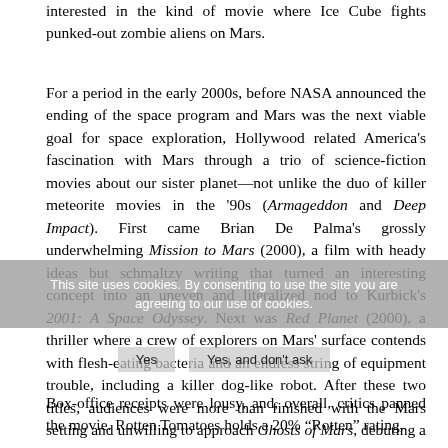interested in the kind of movie where Ice Cube fights punked-out zombie aliens on Mars.
For a period in the early 2000s, before NASA announced the ending of the space program and Mars was the next viable goal for space exploration, Hollywood related America's fascination with Mars through a trio of science-fiction movies about our sister planet—not unlike the duo of killer meteorite movies in the '90s (Armageddon and Deep Impact). First came Brian De Palma's grossly underwhelming Mission to Mars (2000), a film with heady ideas but schmaltzy writing that turned an interesting concept into an uneven and literalized nod to Kurbick's 2001: A Space Odyssey. Next was Red Planet (2000), a thriller where a crew of explorers on Mars' surface contends with flesh-eating bacteria and an endless string of equipment trouble, including a killer dog-like robot. After these two titles, audiences were more than finished with the Mars setting and unwilling to approach Ghosts of Mars, debuting a year later, with an open mind.
Box-office receipts were lousy, and, overall, critics panned the movie. Rotten Tomatoes holds a 20% "Rotten" rating,